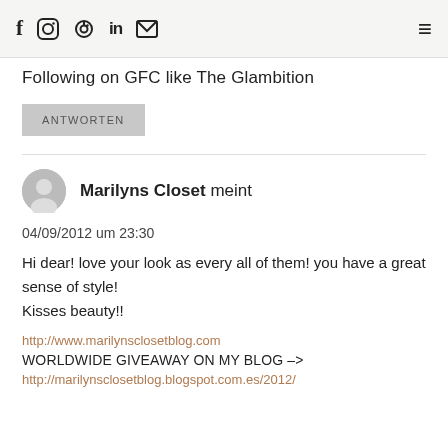Social media icons: f (Facebook), Instagram, Pinterest, in (LinkedIn), Email envelope; Hamburger menu icon
Following on GFC like The Glambition
ANTWORTEN
Marilyns Closet meint
04/09/2012 um 23:30
Hi dear! love your look as every all of them! you have a great sense of style!
Kisses beauty!!
http://www.marilynsclosetblog.com
WORLDWIDE GIVEAWAY ON MY BLOG –>
http://marilynsclosetblog.blogspot.com.es/2012/